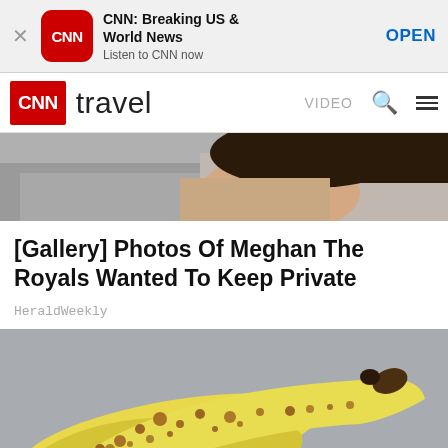[Figure (screenshot): CNN app install banner with CNN logo, title 'CNN: Breaking US & World News', subtitle 'Listen to CNN now', and an OPEN button]
[Figure (screenshot): CNN Travel navigation bar with CNN logo, 'travel' text, VIDEO label, search icon, and hamburger menu]
[Figure (photo): Cropped photo of a person (woman with dark hair and gray jacket), partially visible]
[Gallery] Photos Of Meghan The Royals Wanted To Keep Private
HeraldWeekly
[Figure (photo): Photo of two spotted/ripe bananas on a gray background]